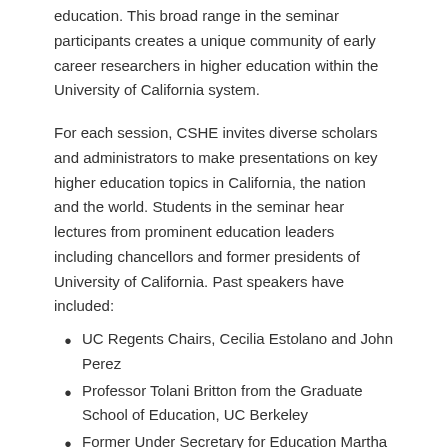education. This broad range in the seminar participants creates a unique community of early career researchers in higher education within the University of California system.
For each session, CSHE invites diverse scholars and administrators to make presentations on key higher education topics in California, the nation and the world. Students in the seminar hear lectures from prominent education leaders including chancellors and former presidents of University of California. Past speakers have included:
UC Regents Chairs, Cecilia Estolano and John Perez
Professor Tolani Britton from the Graduate School of Education, UC Berkeley
Former Under Secretary for Education Martha Kanter
Director of the Center for Innovation and Research in Graduate Education (CIRGE) at the University of Washington, Maresi Nerad
The Gardner Seminar provides fellows opportunities to:
Engage with a range of disciplines that are related to higher education;